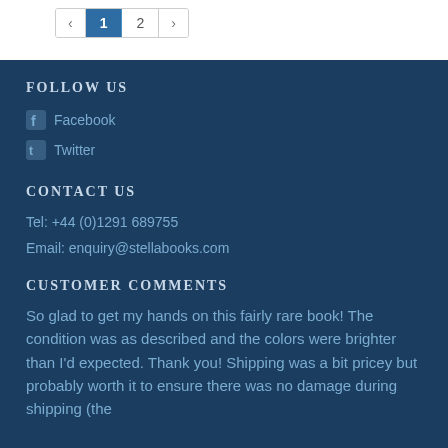« 1 2 »
FOLLOW US
Facebook
Twitter
CONTACT US
Tel: +44 (0)1291 689755
Email: enquiry@stellabooks.com
CUSTOMER COMMENTS
So glad to get my hands on this fairly rare book! The condition was as described and the colors were brighter than I'd expected. Thank you! Shipping was a bit pricey but probably worth it to ensure there was no damage during shipping (the